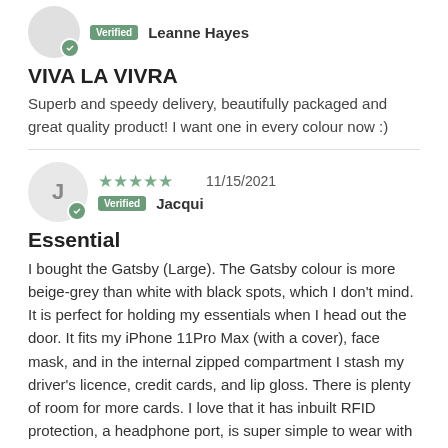Verified Leanne Hayes
VIVA LA VIVRA
Superb and speedy delivery, beautifully packaged and great quality product! I want one in every colour now :)
★★★★★ 11/15/2021 Verified Jacqui
Essential
I bought the Gatsby (Large). The Gatsby colour is more beige-grey than white with black spots, which I don't mind. It is perfect for holding my essentials when I head out the door. It fits my iPhone 11Pro Max (with a cover), face mask, and in the internal zipped compartment I stash my driver's licence, credit cards, and lip gloss. There is plenty of room for more cards. I love that it has inbuilt RFID protection, a headphone port, is super simple to wear with the strong magnets, and that when you take it off it looks like a clutch. Perfect for travel as it fits your passport, packs easily, feels more safe than wearing a belt that can be cut, and you are hands free. I initially